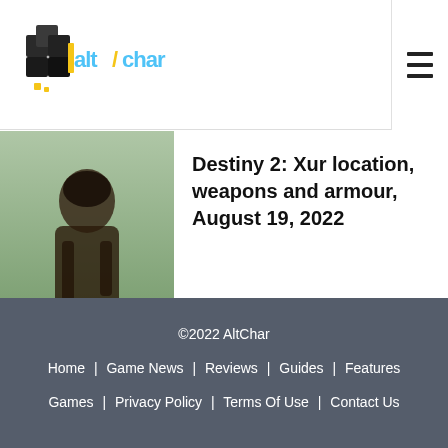[Figure (logo): AltChar logo with pixelated game controller graphic and yellow/blue text]
Destiny 2: Xur location, weapons and armour, August 19, 2022
[Figure (photo): Destiny 2 character (Xur) dark hooded figure on green/teal background]
GTA Online weekly bonuses and discounts, August 18, 2022
[Figure (photo): GTA Online red sports cars in a city setting]
©2022 AltChar
Home | Game News | Reviews | Guides | Features
Games | Privacy Policy | Terms Of Use | Contact Us